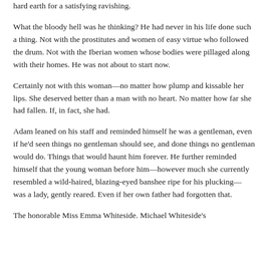hard earth for a satisfying ravishing.
What the bloody hell was he thinking? He had never in his life done such a thing. Not with the prostitutes and women of easy virtue who followed the drum. Not with the Iberian women whose bodies were pillaged along with their homes. He was not about to start now.
Certainly not with this woman—no matter how plump and kissable her lips. She deserved better than a man with no heart. No matter how far she had fallen. If, in fact, she had.
Adam leaned on his staff and reminded himself he was a gentleman, even if he'd seen things no gentleman should see, and done things no gentleman would do. Things that would haunt him forever. He further reminded himself that the young woman before him—however much she currently resembled a wild-haired, blazing-eyed banshee ripe for his plucking— was a lady, gently reared. Even if her own father had forgotten that.
The honorable Miss Emma Whiteside. Michael Whiteside's